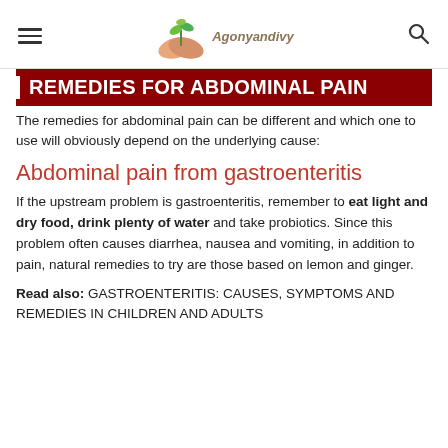Agonyandivy (logo with plant/hands icon)
| REMEDIES FOR ABDOMINAL PAIN
The remedies for abdominal pain can be different and which one to use will obviously depend on the underlying cause:
Abdominal pain from gastroenteritis
If the upstream problem is gastroenteritis, remember to eat light and dry food, drink plenty of water and take probiotics. Since this problem often causes diarrhea, nausea and vomiting, in addition to pain, natural remedies to try are those based on lemon and ginger.
Read also: GASTROENTERITIS: CAUSES, SYMPTOMS AND REMEDIES IN CHILDREN AND ADULTS